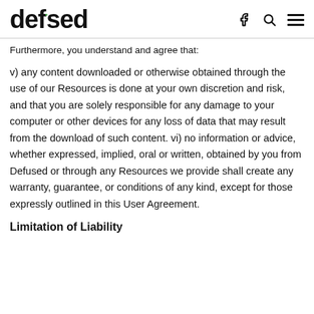defused
Furthermore, you understand and agree that:
v) any content downloaded or otherwise obtained through the use of our Resources is done at your own discretion and risk, and that you are solely responsible for any damage to your computer or other devices for any loss of data that may result from the download of such content. vi) no information or advice, whether expressed, implied, oral or written, obtained by you from Defused or through any Resources we provide shall create any warranty, guarantee, or conditions of any kind, except for those expressly outlined in this User Agreement.
Limitation of Liability